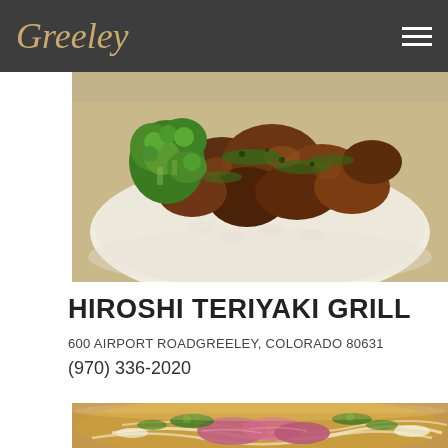Greeley
[Figure (photo): Teriyaki chicken dish served over white rice with broccoli, glazed with dark teriyaki sauce and garnished with green onions]
HIROSHI TERIYAKI GRILL
600 AIRPORT ROADGREELEY, COLORADO 80631
(970) 336-2020
[Figure (photo): Bowl of pho soup with broth, noodles, sliced beef, and fresh herbs garnished on top]